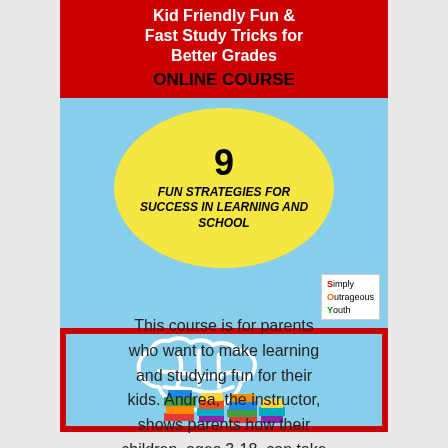[Figure (illustration): Online course promotional image. Top section has red banner with white bold text 'Kid Friendly Fun & Fast Study Tricks for Better Grades' and black text 'ONLINE COURSE'. Blue background with yellow oval containing '9 FUN STRATEGIES FOR SUCCESS IN LEARNING AND SCHOOL'. Simply Outrageous Youth logo bottom right. Bottom section shows a red-bordered image of a chalk brain outline on blue background with colorful stacked books.]
This course is for parents who want to make learning and studying fun for their kids. Andrea, the instructor, shows parents how their children, ages 3-18, can take charge of their learning even